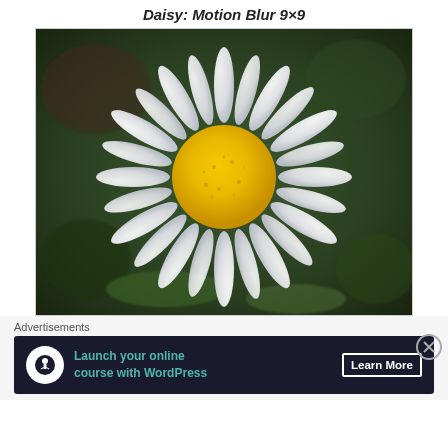Daisy: Motion Blur 9×9
[Figure (photo): Close-up photograph of a white daisy flower with a yellow center against a blurred green background. The image appears to have motion blur applied (9x9 kernel).]
Advertisements
[Figure (infographic): Advertisement banner: 'Launch your online course with WordPress' with a Learn More button, dark navy background with teal text and a tree/person icon.]